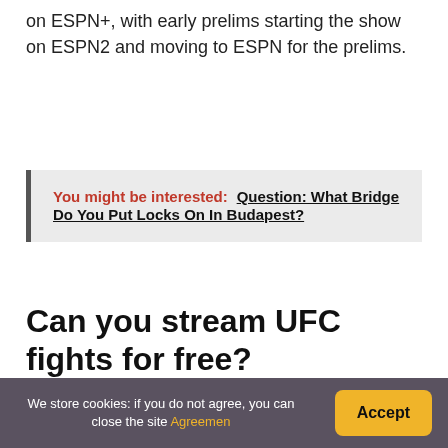on ESPN+, with early prelims starting the show on ESPN2 and moving to ESPN for the prelims.
You might be interested:  Question: What Bridge Do You Put Locks On In Budapest?
Can you stream UFC fights for free?
Watch UFC events live online, streaming ESPN+ pay-per-view (PPV) fights for free.
We store cookies: if you do not agree, you can close the site Agreemen